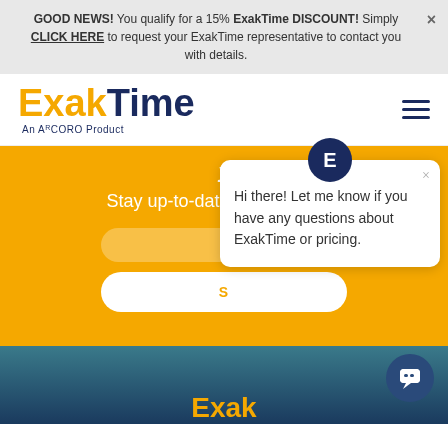GOOD NEWS! You qualify for a 15% ExakTime DISCOUNT! Simply CLICK HERE to request your ExakTime representative to contact you with details.
[Figure (logo): ExakTime logo - orange 'Exak' and navy 'Time' with 'An ARCORO Product' subtitle]
Stay up-to-date with our blog!
[Figure (screenshot): Chat popup bubble with 'E' icon and message: Hi there! Let me know if you have any questions about ExakTime or pricing.]
S (Subscribe button, partially visible)